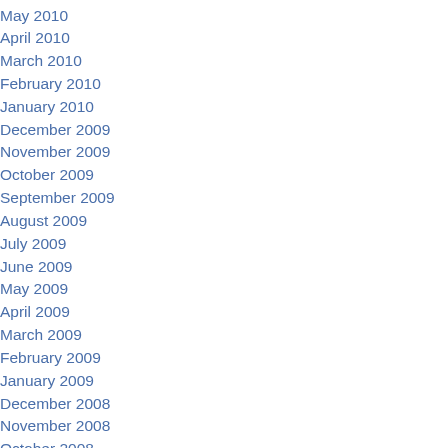May 2010
April 2010
March 2010
February 2010
January 2010
December 2009
November 2009
October 2009
September 2009
August 2009
July 2009
June 2009
May 2009
April 2009
March 2009
February 2009
January 2009
December 2008
November 2008
October 2008
September 2008